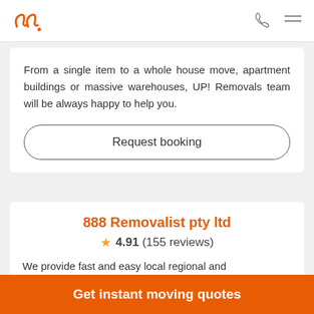UP! Removals logo, phone icon, menu icon
From a single item to a whole house move, apartment buildings or massive warehouses, UP! Removals team will be always happy to help you.
Request booking
888 Removalist pty ltd
4.91 (155 reviews)
We provide fast and easy local regional and
Get instant moving quotes